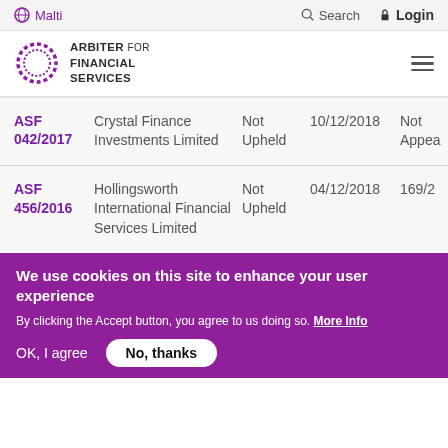Malti   Search   Login
[Figure (logo): Arbiter for Financial Services logo — circular dotted ring with text ARBITER FOR FINANCIAL SERVICES]
| Case ID | Name | Status | Date | Extra |
| --- | --- | --- | --- | --- |
| ASF 042/2017 | Crystal Finance Investments Limited | Not Upheld | 10/12/2018 | Not Appea… |
| ASF 456/2016 | Hollingsworth International Financial Services Limited | Not Upheld | 04/12/2018 | 169/2… |
We use cookies on this site to enhance your user experience
By clicking the Accept button, you agree to us doing so. More Info
OK, I agree   No, thanks